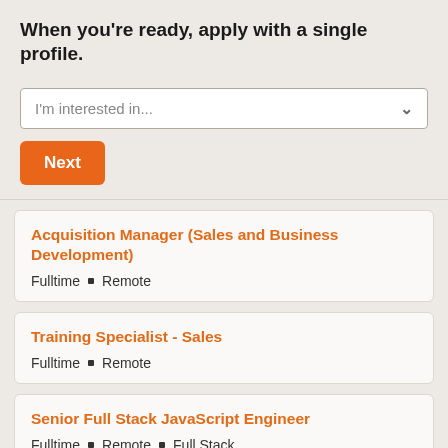When you're ready, apply with a single profile.
I'm interested in...
Next
Acquisition Manager (Sales and Business Development)
Fulltime  •  Remote
Training Specialist - Sales
Fulltime  •  Remote
Senior Full Stack JavaScript Engineer
Fulltime  •  Remote  •  Full Stack